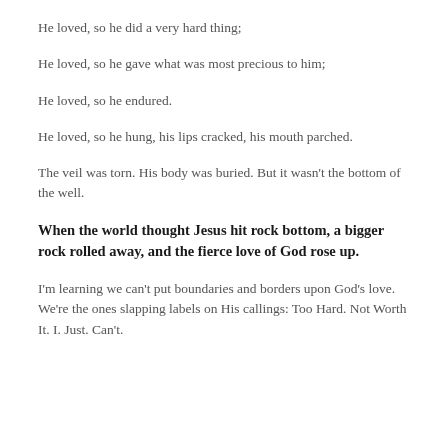He loved, so he did a very hard thing;
He loved, so he gave what was most precious to him;
He loved, so he endured.
He loved, so he hung, his lips cracked, his mouth parched.
The veil was torn. His body was buried. But it wasn't the bottom of the well.
When the world thought Jesus hit rock bottom, a bigger rock rolled away, and the fierce love of God rose up.
I'm learning we can't put boundaries and borders upon God's love. We're the ones slapping labels on His callings: Too Hard. Not Worth It. I. Just. Can't.